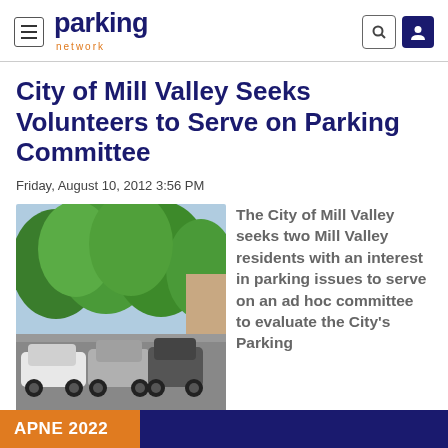parking network
City of Mill Valley Seeks Volunteers to Serve on Parking Committee
Friday, August 10, 2012 3:56 PM
[Figure (photo): Parking lot with cars and trees in background, Mill Valley]
The City of Mill Valley seeks two Mill Valley residents with an interest in parking issues to serve on an ad hoc committee to evaluate the City's Parking
APNE 2022